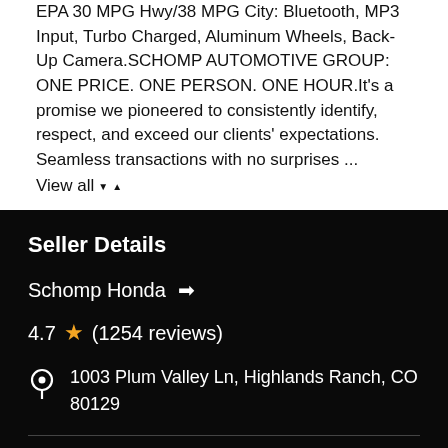EPA 30 MPG Hwy/38 MPG City: Bluetooth, MP3 Input, Turbo Charged, Aluminum Wheels, Back-Up Camera.SCHOMP AUTOMOTIVE GROUP: ONE PRICE. ONE PERSON. ONE HOUR.It's a promise we pioneered to consistently identify, respect, and exceed our clients' expectations. Seamless transactions with no surprises ...
View all
Seller Details
Schomp Honda →
4.7 ★ (1254 reviews)
1003 Plum Valley Ln, Highlands Ranch, CO 80129
(888) 559-5636